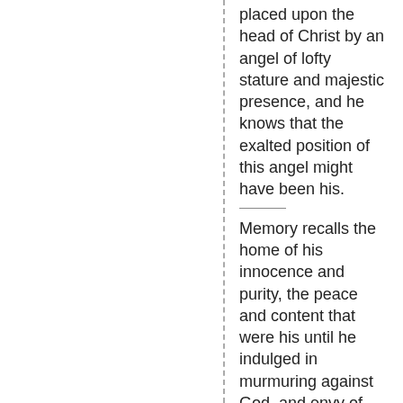placed upon the head of Christ by an angel of lofty stature and majestic presence, and he knows that the exalted position of this angel might have been his.
Memory recalls the home of his innocence and purity, the peace and content that were his until he indulged in murmuring against God, and envy of Christ. His accusations, his rebellion, his deceptions to gain the sympathy and support of the angels, his